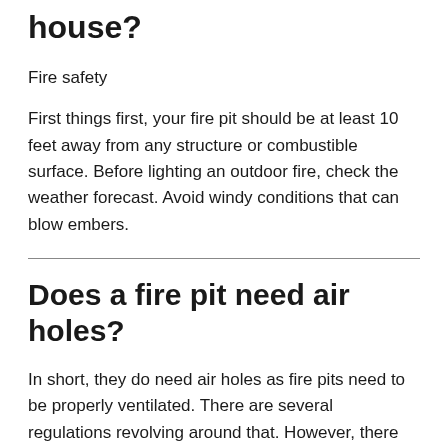house?
Fire safety
First things first, your fire pit should be at least 10 feet away from any structure or combustible surface. Before lighting an outdoor fire, check the weather forecast. Avoid windy conditions that can blow embers.
Does a fire pit need air holes?
In short, they do need air holes as fire pits need to be properly ventilated. There are several regulations revolving around that. However, there are some other